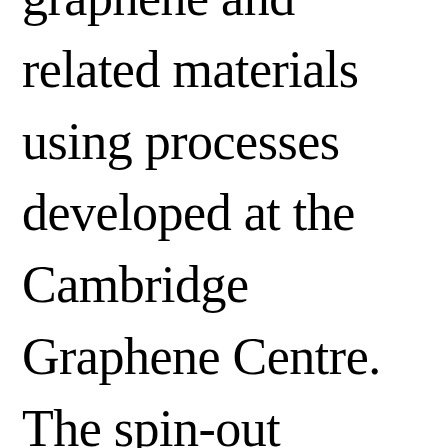graphene and related materials using processes developed at the Cambridge Graphene Centre. The spin-out company has commercialised